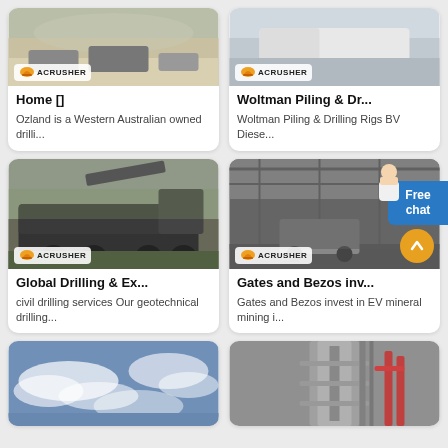[Figure (photo): Quarry/mining site aerial view with dust and machinery, Acrusher logo badge]
Home []
Ozland is a Western Australian owned drilli...
[Figure (photo): White truck/machinery close-up, Acrusher logo badge]
Woltman Piling & Dr...
Woltman Piling & Drilling Rigs BV Diese...
[Figure (photo): Large black drilling/excavation vehicle on road, Acrusher logo badge]
Global Drilling & Ex...
civil drilling services Our geotechnical drilling...
[Figure (photo): Industrial workshop/factory interior with large machinery and vehicles, Acrusher logo badge, Free chat button, scroll-up button]
Gates and Bezos inv...
Gates and Bezos invest in EV mineral mining i...
[Figure (photo): Blue sky with clouds]
[Figure (photo): Industrial structure/tower with pipes and scaffolding]